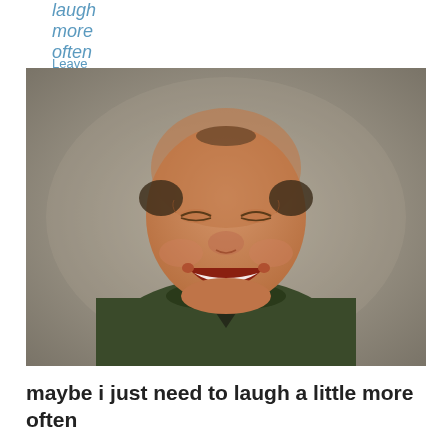laugh more often
Leave a reply
[Figure (photo): A laughing man with a bald head wearing a dark olive green sweater, photographed against a grey background, smiling broadly with mouth open.]
maybe i just need to laugh a little more often